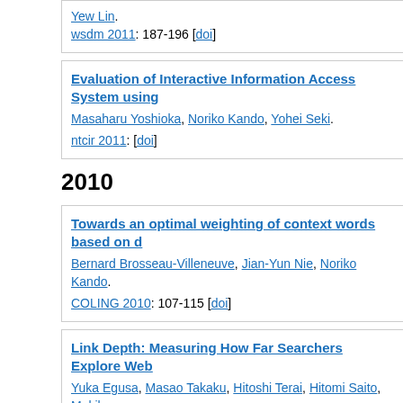Yew Lin. wsdm 2011: 187-196 [doi]
Evaluation of Interactive Information Access System using
Masaharu Yoshioka, Noriko Kando, Yohei Seki. ntcir 2011: [doi]
2010
Towards an optimal weighting of context words based on d
Bernard Brosseau-Villeneuve, Jian-Yun Nie, Noriko Kando. COLING 2010: 107-115 [doi]
Link Depth: Measuring How Far Searchers Explore Web
Yuka Egusa, Masao Takaku, Hitoshi Terai, Hitomi Saito, Makiko
hicss 2010: 1-8 [doi]
Using a concept map to evaluate exploratory search